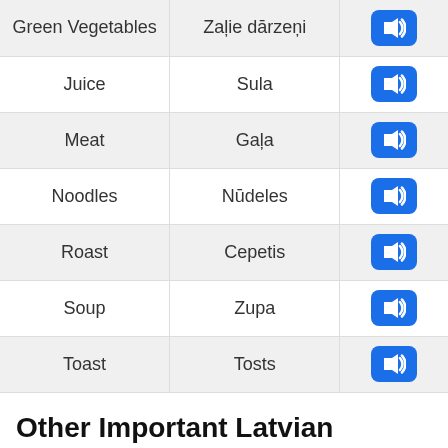| English | Latvian | Audio |
| --- | --- | --- |
| Green Vegetables | Zaļie dārzeņi | 🔊 |
| Juice | Sula | 🔊 |
| Meat | Gaļa | 🔊 |
| Noodles | Nūdeles | 🔊 |
| Roast | Cepetis | 🔊 |
| Soup | Zupa | 🔊 |
| Toast | Tosts | 🔊 |
Other Important Latvian Vocabulary